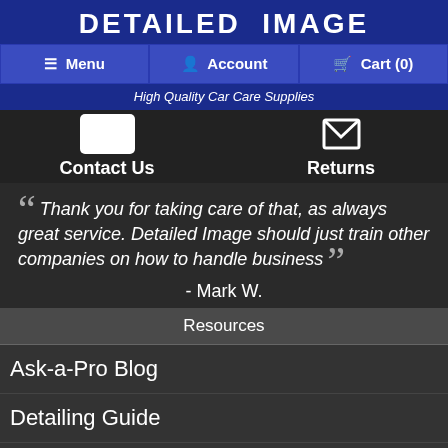DETAILED IMAGE
[Figure (screenshot): Navigation bar with Menu, Account, Cart (0) buttons on blue background]
High Quality Car Care Supplies
Contact Us   Returns
“Thank you for taking care of that, as always great service. Detailed Image should just train other companies on how to handle business”
- Mark W.
Resources
Ask-a-Pro Blog
Detailing Guide
Detailing Dictionary
Newsletter
My Offers